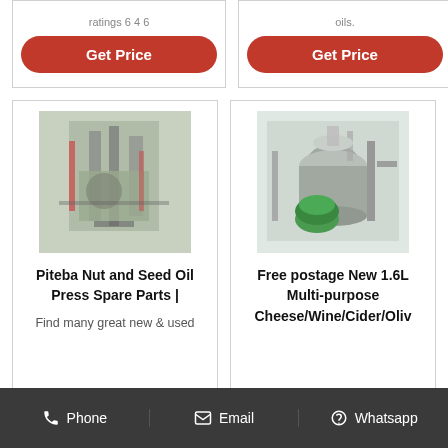[Figure (other): Get Price button (red pill-shaped) for first product card]
[Figure (other): Get Price button (red pill-shaped) for second product card]
[Figure (photo): Industrial oil press machinery in a factory setting]
Piteba Nut and Seed Oil Press Spare Parts |
Find many great new & used
[Figure (photo): Industrial centrifuge/separator machine with green components in a lab]
Free postage New 1.6L Multi-purpose Cheese/Wine/Cider/Oliv
Phone   Email   Whatsapp